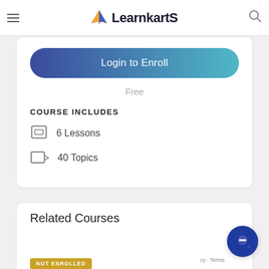LearnkartS
Login to Enroll
Free
COURSE INCLUDES
6 Lessons
40 Topics
Related Courses
NOT ENROLLED